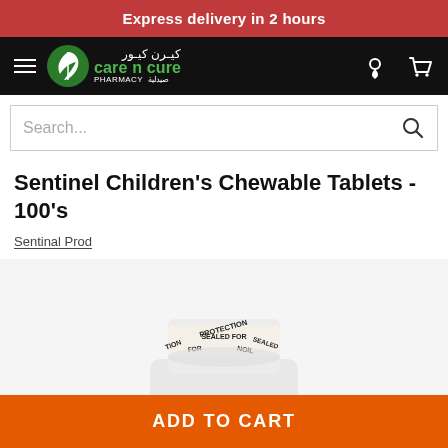Express delivery in 2 hours
[Figure (logo): Care n Cure Pharmacy logo with green leaf icon and Arabic text]
Search...
Sentinel Children's Chewable Tablets - 100's
Sentinal Prod
[Figure (photo): Close-up of a sealed medicine bottle cap with 'SEALED FOR PROTECTION' text printed on the security seal band]
ADD TO CART